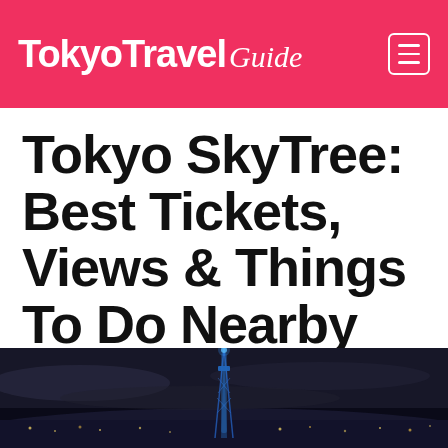Tokyo Travel Guide
Tokyo SkyTree: Best Tickets, Views & Things To Do Nearby
July 29, 2022 by Tokyo Travel Guide
[Figure (photo): Night photo of Tokyo SkyTree tower illuminated in blue against a dark cloudy sky with city lights below]